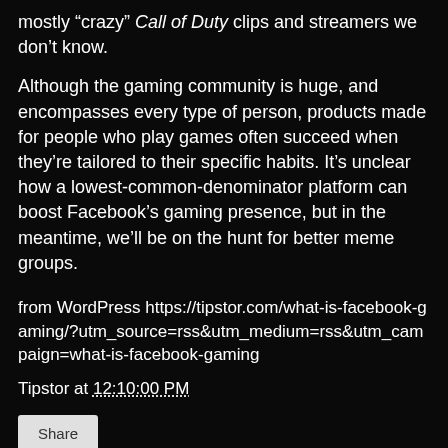mostly “crazy” Call of Duty clips and streamers we don’t know.
Although the gaming community is huge, and encompasses every type of person, products made for people who play games often succeed when they’re tailored to their specific habits. It’s unclear how a lowest-common-denominator platform can boost Facebook’s gaming presence, but in the meantime, we’ll be on the hunt for better meme groups.
from WordPress https://tipstor.com/what-is-facebook-gaming/?utm_source=rss&utm_medium=rss&utm_campaign=what-is-facebook-gaming
Tipstor at 12:10:00 PM
Share